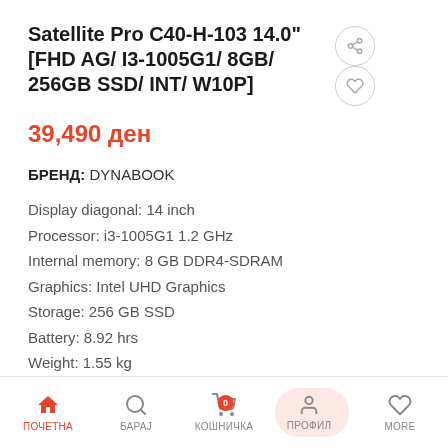Satellite Pro C40-H-103 14.0" [FHD AG/ I3-1005G1/ 8GB/ 256GB SSD/ INT/ W10P]
39,490 ден
БРЕНД: DYNABOOK
Display diagonal: 14 inch
Processor: i3-1005G1 1.2 GHz
Internal memory: 8 GB DDR4-SDRAM
Graphics: Intel UHD Graphics
Storage: 256 GB SSD
Battery: 8.92 hrs
Weight: 1.55 kg
Windows 10 Pro – preinstalled
ПОЧЕТНА  БАРАЈ  КОШНИЧКА 0  ПРОФИЛ  MORE